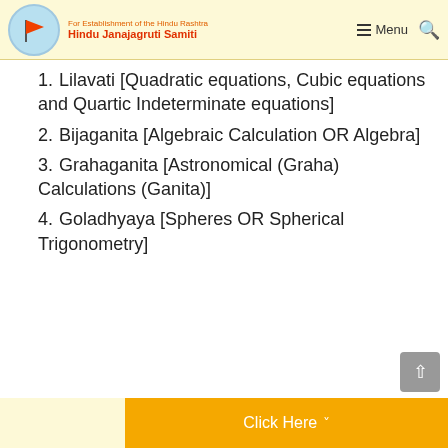For Establishment of the Hindu Rashtra | Hindu Janajagruti Samiti | Menu | Search
Lilavati [Quadratic equations, Cubic equations and Quartic Indeterminate equations]
Bijaganita [Algebraic Calculation OR Algebra]
Grahaganita [Astronomical (Graha) Calculations (Ganita)]
Goladhyaya [Spheres OR Spherical Trigonometry]
Click Here